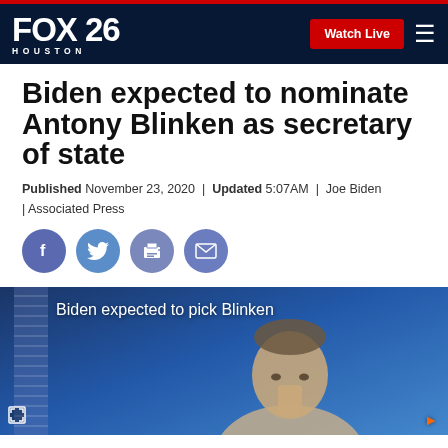FOX 26 HOUSTON | Watch Live
Biden expected to nominate Antony Blinken as secretary of state
Published November 23, 2020 | Updated 5:07AM | Joe Biden | Associated Press
[Figure (screenshot): Social media share icons: Facebook, Twitter, Print, Email]
[Figure (photo): Video thumbnail showing 'Biden expected to pick Blinken' with a man's face partially visible against a blue background with an American flag]